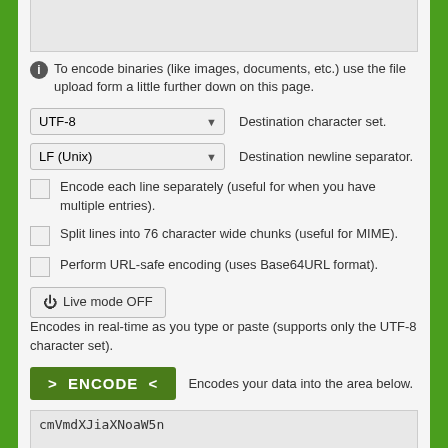[Figure (screenshot): Textarea input box at top, partially visible]
To encode binaries (like images, documents, etc.) use the file upload form a little further down on this page.
UTF-8  Destination character set.
LF (Unix)  Destination newline separator.
Encode each line separately (useful for when you have multiple entries).
Split lines into 76 character wide chunks (useful for MIME).
Perform URL-safe encoding (uses Base64URL format).
Live mode OFF  Encodes in real-time as you type or paste (supports only the UTF-8 character set).
> ENCODE <  Encodes your data into the area below.
cmVmdXJiaXNoaW5n